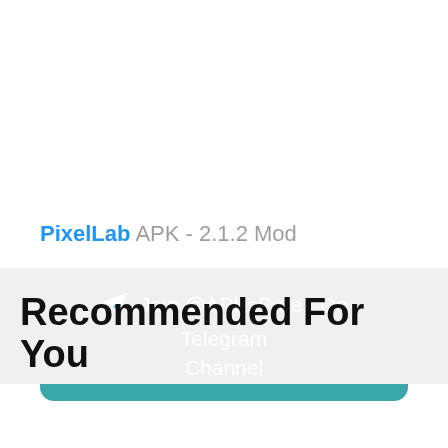PixelLab APK - 2.1.2 Mod
[Figure (infographic): Teal rounded button with Telegram paper plane icon and text 'Join @APKsPure1 On Telegram Channel']
Recommended For You